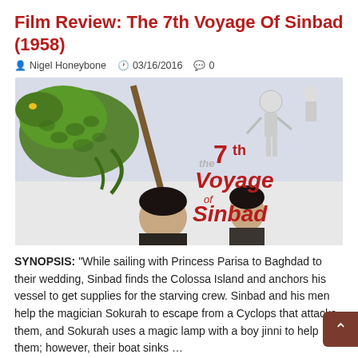Film Review: The 7th Voyage Of Sinbad (1958)
Nigel Honeybone  03/16/2016  0
[Figure (photo): Movie poster for The 7th Voyage of Sinbad (1958) showing a green dragon/serpent monster on the left, skeleton warriors on the upper right, and two men in the foreground. Large stylized red title text reads 'the 7th Voyage of Sinbad'.]
SYNOPSIS: “While sailing with Princess Parisa to Baghdad to their wedding, Sinbad finds the Colossa Island and anchors his vessel to get supplies for the starving crew. Sinbad and his men help the magician Sokurah to escape from a Cyclops that attacks them, and Sokurah uses a magic lamp with a boy jinni to help them; however, their boat sinks …